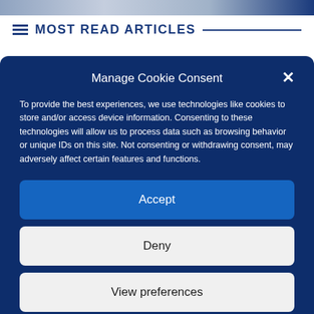[Figure (screenshot): Top gradient bar of webpage header]
MOST READ ARTICLES
Manage Cookie Consent
To provide the best experiences, we use technologies like cookies to store and/or access device information. Consenting to these technologies will allow us to process data such as browsing behavior or unique IDs on this site. Not consenting or withdrawing consent, may adversely affect certain features and functions.
Accept
Deny
View preferences
Privacy Statement